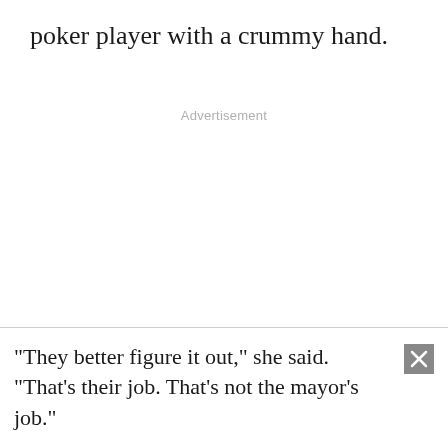poker player with a crummy hand.
Advertisement
"They better figure it out," she said. "That's their job. That's not the mayor's job."